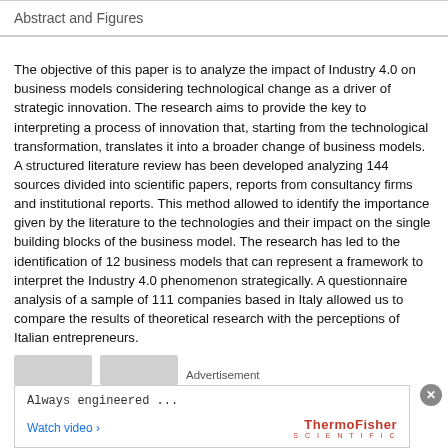Abstract and Figures
The objective of this paper is to analyze the impact of Industry 4.0 on business models considering technological change as a driver of strategic innovation. The research aims to provide the key to interpreting a process of innovation that, starting from the technological transformation, translates it into a broader change of business models. A structured literature review has been developed analyzing 144 sources divided into scientific papers, reports from consultancy firms and institutional reports. This method allowed to identify the importance given by the literature to the technologies and their impact on the single building blocks of the business model. The research has led to the identification of 12 business models that can represent a framework to interpret the Industry 4.0 phenomenon strategically. A questionnaire analysis of a sample of 111 companies based in Italy allowed us to compare the results of theoretical research with the perceptions of Italian entrepreneurs.
[Figure (other): Advertisement banner: Thermo Fisher Scientific ad with 'Always engineered ...' text and 'Watch video ›' link]